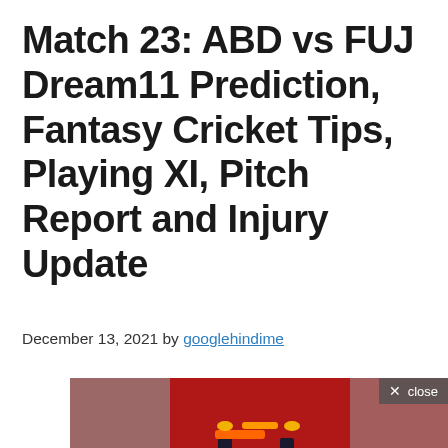Match 23: ABD vs FUJ Dream11 Prediction, Fantasy Cricket Tips, Playing XI, Pitch Report and Injury Update
December 13, 2021 by googlehindime
[Figure (photo): Cricket stumps and bails on a red background, close-up photo. A 'close' button overlay is visible in the top-right corner of the image.]